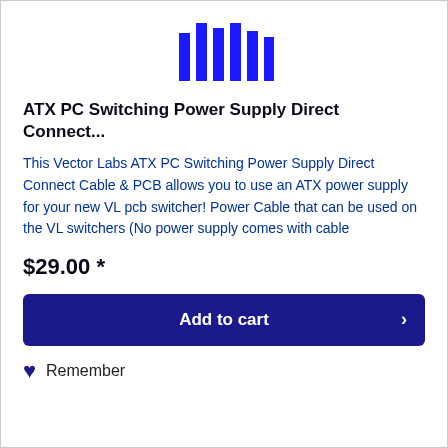[Figure (logo): Vector Labs logo consisting of vertical blue bars of varying heights arranged side by side]
ATX PC Switching Power Supply Direct Connect...
This Vector Labs ATX PC Switching Power Supply Direct Connect Cable & PCB allows you to use an ATX power supply for your new VL pcb switcher! Power Cable that can be used on the VL switchers (No power supply comes with cable
$29.00 *
Add to cart
Remember